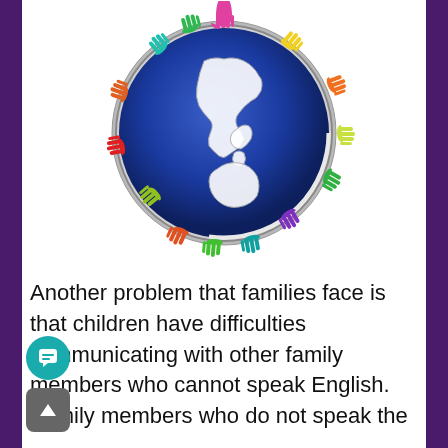[Figure (illustration): A globe showing Asia-Pacific region surrounded by colorful hands in various colors (red, orange, yellow, green, teal, blue, purple, pink, magenta) arranged in a circle around the Earth.]
Another problem that families face is that children have difficulties communicating with other family members who cannot speak English. Family members who do not speak the